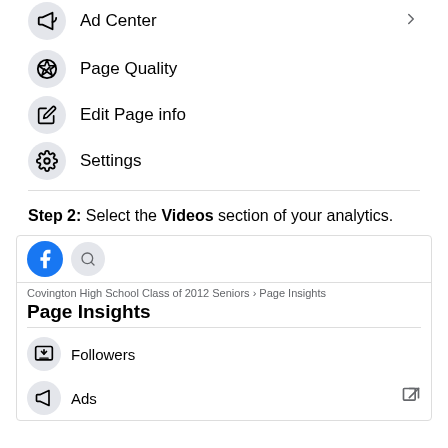Ad Center
Page Quality
Edit Page info
Settings
Step 2: Select the Videos section of your analytics.
[Figure (screenshot): Facebook Page Insights interface screenshot showing Page Insights navigation with Followers and Ads menu items]
Followers
Ads